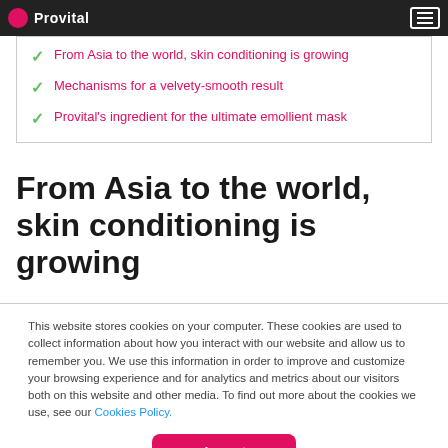Provital
From Asia to the world, skin conditioning is growing
Mechanisms for a velvety-smooth result
Provital's ingredient for the ultimate emollient mask
From Asia to the world, skin conditioning is growing
This website stores cookies on your computer. These cookies are used to collect information about how you interact with our website and allow us to remember you. We use this information in order to improve and customize your browsing experience and for analytics and metrics about our visitors both on this website and other media. To find out more about the cookies we use, see our Cookies Policy.